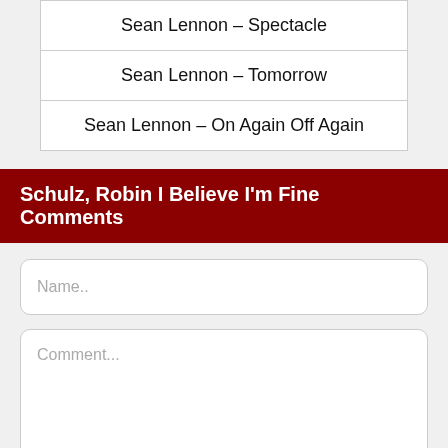Sean Lennon – Spectacle
Sean Lennon – Tomorrow
Sean Lennon – On Again Off Again
Schulz, Robin I Believe I'm Fine Comments
Name..
Comment...